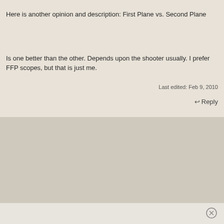Here is another opinion and description: First Plane vs. Second Plane
Is one better than the other. Depends upon the shooter usually. I prefer FFP scopes, but that is just me.
Last edited: Feb 9, 2010
↩ Reply